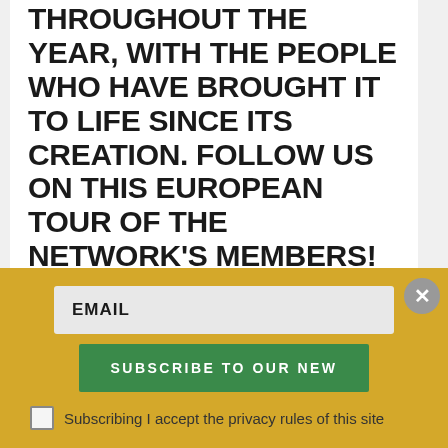THROUGHOUT THE YEAR, WITH THE PEOPLE WHO HAVE BROUGHT IT TO LIFE SINCE ITS CREATION. FOLLOW US ON THIS EUROPEAN TOUR OF THE NETWORK'S MEMBERS!
THIS TIME, WE HAVE AN APPOINTMENT WITH ANA SILVA FROM CRESAÇOR (PORTUGAL).
Hello Ana, can you tell us a bit more about yourself and your organisation?
EMAIL
SUBSCRIBE TO OUR NEW
Subscribing I accept the privacy rules of this site